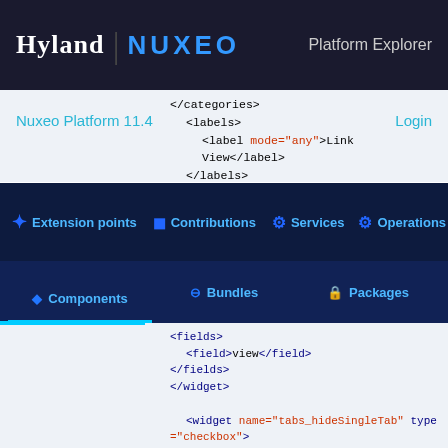Hyland | NUXEO  Platform Explorer
</categories>
<labels>
  <label mode="any">Link View</label>
</labels>
<helpLabels>
Nuxeo Platform 11.4    Login
Extension points  Contributions  Services  Operations
Components  Bundles  Packages
<fields>
  <field>view</field>
</fields>
</widget>

<widget name="tabs_hideSingleTab" type="checkbox">
  <categories>
    <category>widgetTypeConf</category>
  </categories>
  <labels>
    <label mode="any">Hide single tab</label>
  </labels>